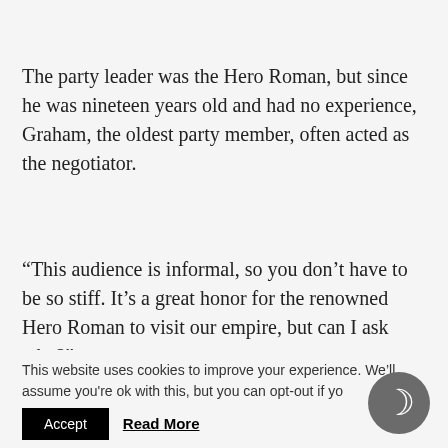The party leader was the Hero Roman, but since he was nineteen years old and had no experience, Graham, the oldest party member, often acted as the negotiator.
“This audience is informal, so you don’t have to be so stiff. It’s a great honor for the renowned Hero Roman to visit our empire, but can I ask why?”
This website uses cookies to improve your experience. We’ll assume you're ok with this, but you can opt-out if yo...